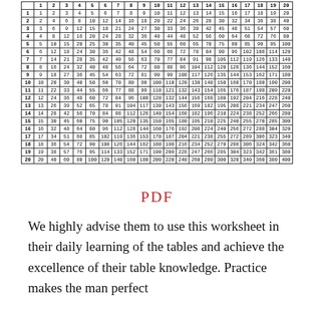|  | 1 | 2 | 3 | 4 | 5 | 6 | 7 | 8 | 9 | 10 | 11 | 12 | 13 | 14 | 15 | 16 | 17 | 18 | 19 | 20 |
| --- | --- | --- | --- | --- | --- | --- | --- | --- | --- | --- | --- | --- | --- | --- | --- | --- | --- | --- | --- | --- |
| 1 | 1 | 2 | 3 | 4 | 5 | 6 | 7 | 8 | 9 | 10 | 11 | 12 | 13 | 14 | 15 | 16 | 17 | 18 | 19 | 20 |
| 2 | 2 | 4 | 6 | 8 | 10 | 12 | 14 | 16 | 18 | 20 | 22 | 24 | 26 | 28 | 30 | 32 | 34 | 36 | 38 | 40 |
| 3 | 3 | 6 | 9 | 12 | 15 | 18 | 21 | 24 | 27 | 30 | 33 | 36 | 39 | 42 | 45 | 48 | 51 | 54 | 57 | 60 |
| 4 | 4 | 8 | 12 | 16 | 20 | 24 | 28 | 32 | 36 | 40 | 44 | 48 | 52 | 56 | 60 | 64 | 68 | 72 | 76 | 80 |
| 5 | 5 | 10 | 15 | 20 | 25 | 30 | 35 | 40 | 45 | 50 | 55 | 60 | 65 | 70 | 75 | 80 | 85 | 90 | 95 | 100 |
| 6 | 6 | 12 | 18 | 24 | 30 | 36 | 42 | 48 | 54 | 60 | 66 | 72 | 78 | 84 | 90 | 96 | 102 | 108 | 114 | 120 |
| 7 | 7 | 14 | 21 | 28 | 35 | 42 | 49 | 56 | 63 | 70 | 77 | 84 | 91 | 98 | 105 | 112 | 119 | 126 | 133 | 140 |
| 8 | 8 | 16 | 24 | 32 | 40 | 48 | 56 | 64 | 72 | 80 | 88 | 96 | 104 | 112 | 120 | 128 | 136 | 144 | 152 | 160 |
| 9 | 9 | 18 | 27 | 36 | 45 | 54 | 63 | 72 | 81 | 90 | 99 | 108 | 117 | 126 | 135 | 144 | 153 | 162 | 171 | 180 |
| 10 | 10 | 20 | 30 | 40 | 50 | 60 | 70 | 80 | 90 | 100 | 110 | 120 | 130 | 140 | 150 | 160 | 170 | 180 | 190 | 200 |
| 11 | 11 | 22 | 33 | 44 | 55 | 66 | 77 | 88 | 99 | 110 | 121 | 132 | 143 | 154 | 165 | 176 | 187 | 198 | 209 | 220 |
| 12 | 12 | 24 | 36 | 48 | 60 | 72 | 84 | 96 | 108 | 120 | 132 | 144 | 156 | 168 | 180 | 192 | 204 | 216 | 228 | 240 |
| 13 | 13 | 26 | 39 | 52 | 65 | 78 | 91 | 104 | 117 | 130 | 143 | 156 | 169 | 182 | 195 | 208 | 221 | 234 | 247 | 260 |
| 14 | 14 | 28 | 42 | 56 | 70 | 84 | 98 | 112 | 126 | 140 | 154 | 168 | 182 | 196 | 210 | 224 | 238 | 252 | 266 | 280 |
| 15 | 15 | 30 | 45 | 60 | 75 | 90 | 105 | 120 | 135 | 150 | 165 | 180 | 195 | 210 | 225 | 240 | 255 | 270 | 285 | 300 |
| 16 | 16 | 32 | 48 | 64 | 80 | 96 | 112 | 128 | 144 | 160 | 176 | 192 | 208 | 224 | 240 | 256 | 272 | 288 | 304 | 320 |
| 17 | 17 | 34 | 51 | 68 | 85 | 102 | 119 | 136 | 153 | 170 | 187 | 204 | 221 | 238 | 255 | 272 | 289 | 306 | 323 | 340 |
| 18 | 18 | 36 | 54 | 72 | 90 | 108 | 126 | 144 | 162 | 180 | 198 | 216 | 234 | 252 | 270 | 288 | 306 | 324 | 342 | 360 |
| 19 | 19 | 38 | 57 | 76 | 95 | 114 | 133 | 152 | 171 | 190 | 209 | 228 | 247 | 266 | 285 | 304 | 323 | 342 | 361 | 380 |
| 20 | 20 | 40 | 60 | 80 | 100 | 120 | 140 | 160 | 180 | 200 | 220 | 240 | 260 | 280 | 300 | 320 | 340 | 360 | 380 | 400 |
PDF
We highly advise them to use this worksheet in their daily learning of the tables and achieve the excellence of their table knowledge. Practice makes the man perfect